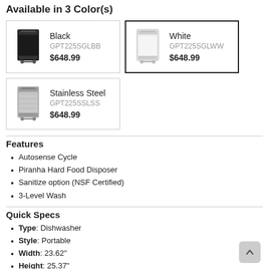Available in 3 Color(s)
[Figure (photo): Black dishwasher product image]
Black
GPT225SGLBB
$648.99
[Figure (photo): White dishwasher product image]
White
GPT225SGLWW
$648.99
[Figure (photo): Stainless Steel dishwasher product image]
Stainless Steel
GPT225SSLSS
$648.99
Features
Autosense Cycle
Piranha Hard Food Disposer
Sanitize option (NSF Certified)
3-Level Wash
Quick Specs
Type: Dishwasher
Style: Portable
Width: 23.62"
Height: 25.37"
Depth: 36"